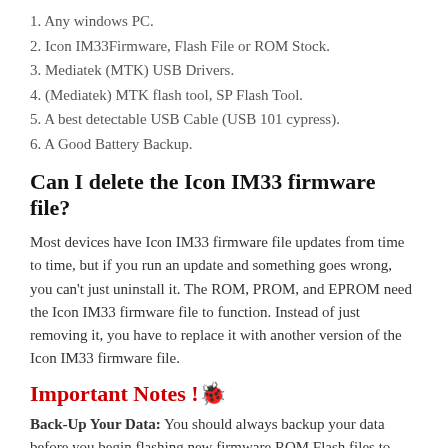1. Any windows PC.
2. Icon IM33Firmware, Flash File or ROM Stock.
3. Mediatek (MTK) USB Drivers.
4. (Mediatek) MTK flash tool, SP Flash Tool.
5. A best detectable USB Cable (USB 101 cypress).
6. A Good Battery Backup.
Can I delete the Icon IM33 firmware file?
Most devices have Icon IM33 firmware file updates from time to time, but if you run an update and something goes wrong, you can't just uninstall it. The ROM, PROM, and EPROM need the Icon IM33 firmware file to function. Instead of just removing it, you have to replace it with another version of the Icon IM33 firmware file.
Important Notes !🔒
Back-Up Your Data: You should always backup your data before you begin flashing new firmware ROM Flash files to your Android